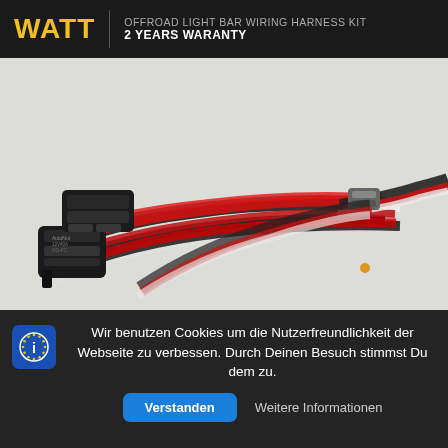WATT | OFFROAD LIGHT BAR WIRING HARNESS KIT
2 YEARS WARANTY
[Figure (photo): Photo of an offroad light bar wiring harness kit with red, black, and white cables bundled together with a relay and connectors on a light grey background.]
Wir benutzen Cookies um die Nutzerfreundlichkeit der Webseite zu verbessen. Durch Deinen Besuch stimmst Du dem zu.
Verstanden
Weitere Informationen